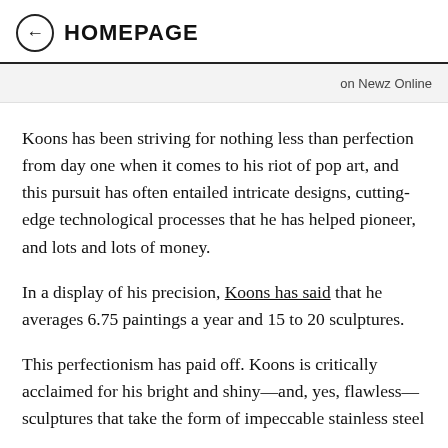← HOMEPAGE
on Newz Online
Koons has been striving for nothing less than perfection from day one when it comes to his riot of pop art, and this pursuit has often entailed intricate designs, cutting-edge technological processes that he has helped pioneer, and lots and lots of money.
In a display of his precision, Koons has said that he averages 6.75 paintings a year and 15 to 20 sculptures.
This perfectionism has paid off. Koons is critically acclaimed for his bright and shiny—and, yes, flawless—sculptures that take the form of impeccable stainless steel